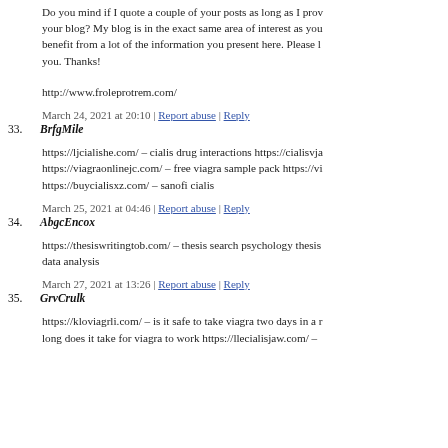Do you mind if I quote a couple of your posts as long as I provide credit and sources back to your blog? My blog is in the exact same area of interest as yours and my users would genuinely benefit from a lot of the information you present here. Please let me know if this ok with you. Thanks!
http://www.froleprotrem.com/
March 24, 2021 at 20:10 | Report abuse | Reply
33. BrfgMile
https://ljcialishe.com/ – cialis drug interactions https://cialisvja.com/ https://viagraonlinejc.com/ – free viagra sample pack https://viagratx.com/ https://buycialisxz.com/ – sanofi cialis
March 25, 2021 at 04:46 | Report abuse | Reply
34. AbgcEncox
https://thesiswritingtob.com/ – thesis search psychology thesis data analysis
March 27, 2021 at 13:26 | Report abuse | Reply
35. GrvCrulk
https://kloviagrli.com/ – is it safe to take viagra two days in a row how long does it take for viagra to work https://llecialisjaw.com/ –